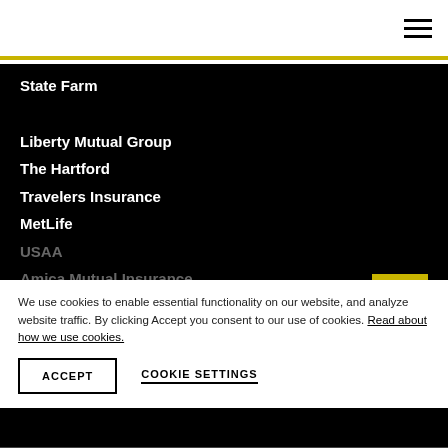Navigation menu header with hamburger icon
State Farm
Liberty Mutual Group
The Hartford
Travelers Insurance
MetLife
USAA
Amica Mutual Insurance
Nationwide
We use cookies to enable essential functionality on our website, and analyze website traffic. By clicking Accept you consent to our use of cookies. Read about how we use cookies.